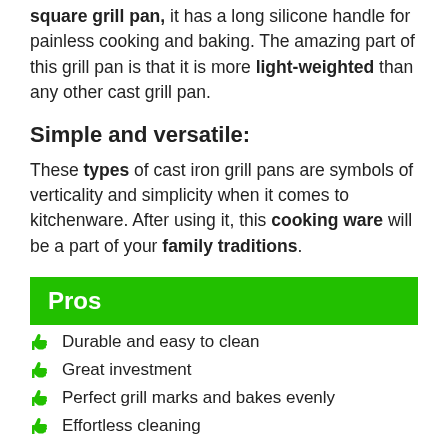square grill pan, it has a long silicone handle for painless cooking and baking. The amazing part of this grill pan is that it is more light-weighted than any other cast grill pan.
Simple and versatile:
These types of cast iron grill pans are symbols of verticality and simplicity when it comes to kitchenware. After using it, this cooking ware will be a part of your family traditions.
Pros
Durable and easy to clean
Great investment
Perfect grill marks and bakes evenly
Effortless cleaning